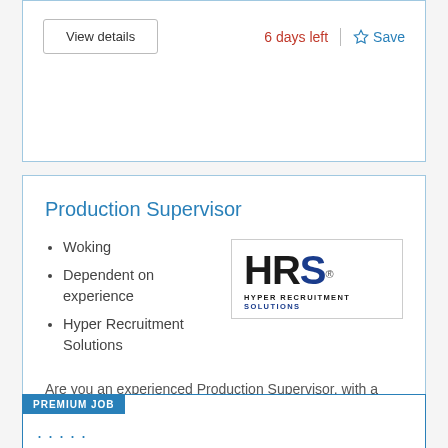View details
6 days left
Save
Production Supervisor
Woking
Dependent on experience
Hyper Recruitment Solutions
[Figure (logo): HRS - Hyper Recruitment Solutions logo with bold black H, black R, dark blue S and text 'HYPER RECRUITMENT SOLUTIONS' below]
Are you an experienced Production Supervisor, with a background of working in a strict sterile...
View details
5 days left
Save
PREMIUM JOB